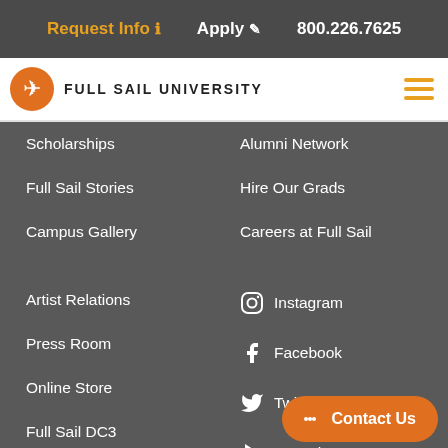Request Info   Apply   800.226.7625
[Figure (logo): Full Sail University logo with orange circle and white airplane icon, text FULL SAIL UNIVERSITY]
Scholarships
Alumni Network
Full Sail Stories
Hire Our Grads
Campus Gallery
Careers at Full Sail
Artist Relations
Instagram
Press Room
Facebook
Online Store
Twitter
Full Sail DC3
YouTube
COVID-19 Information
Connect with Us
Contact Us